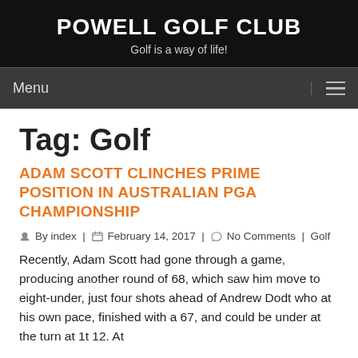POWELL GOLF CLUB
Golf is a way of life!
Menu
Tag: Golf
ADAM SCOTT CLINCHES PRIME POSITION IN AUSTRALIAN PGA CHAMPIONSHIP
By index | February 14, 2017 | No Comments | Golf
Recently, Adam Scott had gone through a game, producing another round of 68, which saw him move to eight-under, just four shots ahead of Andrew Dodt who at his own pace, finished with a 67, and could be under at the turn at 1t 12. At